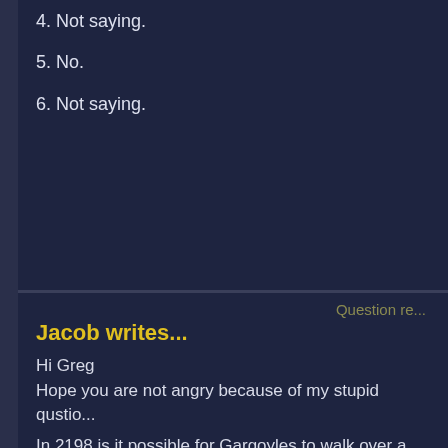4. Not saying.
5. No.
6. Not saying.
Question re...
Jacob writes...
Hi Greg
Hope you are not angry because of my stupid qustio...
In 2198 is it possible for Gargoyles to walk over a cro... or will more time have to pass for that?
Greg responds...
It's possible.
And I rarely get angry over ASK GREG questions. (S... course.) It just may seem that way because you don'... response.